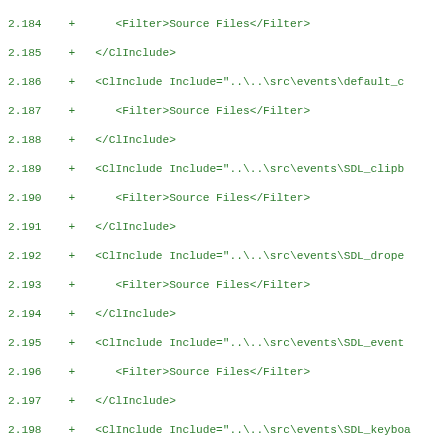Diff view of a Visual Studio project file showing XML ClInclude entries for SDL source files (lines 2.184-2.216)